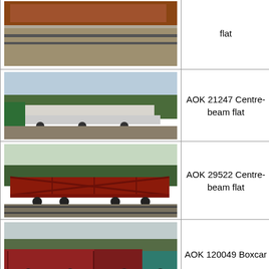| Photo | Label |
| --- | --- |
| [photo: flat car, partial top view] | flat |
| [photo: AOK 21247 Centre-beam flat car] | AOK 21247 Centre-beam flat |
| [photo: AOK 29522 Centre-beam flat car, red frame] | AOK 29522 Centre-beam flat |
| [photo: AOK 120049 Boxcar, red/teal cars] | AOK 120049 Boxcar |
|  | AOK 110111 Boxcar |
|  | AOK 27620 Centre-beam flat |
|  | AOK 110191 Boxcar |